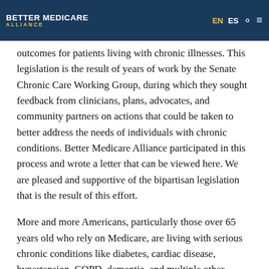BETTER MEDICARE ALLIANCE | EN | ES
outcomes for patients living with chronic illnesses. This legislation is the result of years of work by the Senate Chronic Care Working Group, during which they sought feedback from clinicians, plans, advocates, and community partners on actions that could be taken to better address the needs of individuals with chronic conditions. Better Medicare Alliance participated in this process and wrote a letter that can be viewed here. We are pleased and supportive of the bipartisan legislation that is the result of this effort.
More and more Americans, particularly those over 65 years old who rely on Medicare, are living with serious chronic conditions like diabetes, cardiac disease, hypertension, COPD, dementia, and multiple other conditions. In fact, approximately 92% of older adults have at least one chronic condition, 77% have at least two, and 14% have six or more. This cohort of Medicare beneficiaries with six or more chronic conditions account for almost half of total Medicare spending. They are high need, high risk beneficiaries. If we